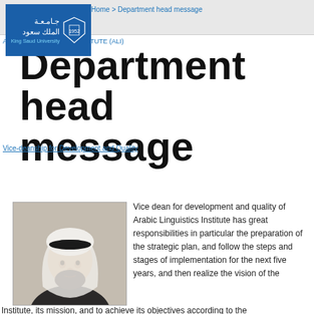Home > Department head message
[Figure (logo): King Saud University logo with Arabic text and shield emblem on blue background]
ARABIC LINGUISTICS INSTITUTE (ALI)
Department head message
Vice-deanship for Development and Quality
[Figure (photo): Portrait photo of a man wearing traditional Saudi white thobe and black ghatra headwear]
Vice dean for development and quality of Arabic Linguistics Institute has great responsibilities in particular the preparation of the strategic plan, and follow the steps and stages of implementation for the next five years, and then realize the vision of the Institute, its mission, and to achieve its objectives according to the